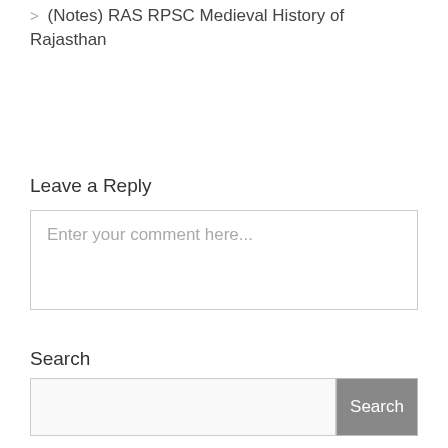> (Notes) RAS RPSC Medieval History of Rajasthan
Leave a Reply
Enter your comment here...
Search
Search